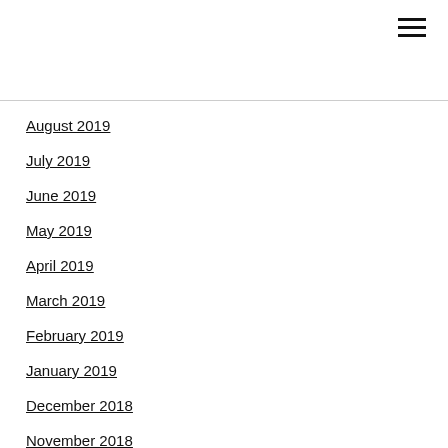August 2019
July 2019
June 2019
May 2019
April 2019
March 2019
February 2019
January 2019
December 2018
November 2018
October 2018
September 2018
Categories
All
Accounting
App